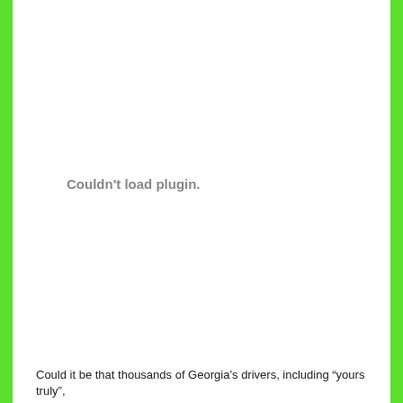[Figure (other): Placeholder area showing 'Couldn't load plugin.' message — a browser plugin/PDF embed that failed to load, surrounded by green side borders.]
Could it be that thousands of Georgia's drivers, including “yours truly”,